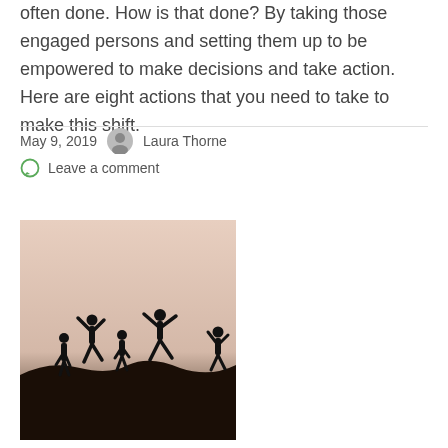often done. How is that done? By taking those engaged persons and setting them up to be empowered to make decisions and take action. Here are eight actions that you need to take to make this shift.
May 9, 2019   Laura Thorne
Leave a comment
[Figure (photo): Silhouettes of several people jumping joyfully on a hilltop against a warm pinkish-beige sky at sunset or dusk.]